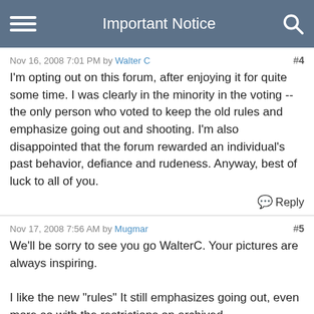Important Notice
Nov 16, 2008 7:01 PM by Walter C  #4
I'm opting out on this forum, after enjoying it for quite some time. I was clearly in the minority in the voting -- the only person who voted to keep the old rules and emphasize going out and shooting. I'm also disappointed that the forum rewarded an individual's past behavior, defiance and rudeness. Anyway, best of luck to all of you.
Reply
Nov 17, 2008 7:56 AM by Mugmar  #5
We'll be sorry to see you go WalterC. Your pictures are always inspiring.

I like the new "rules" It still emphasizes going out, even more so with the restrictions on archived photos,composing and shooting photographs. They just allow one to express